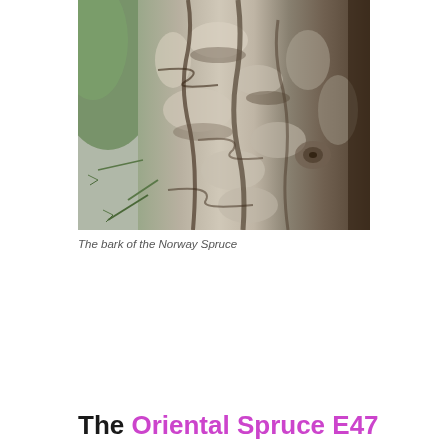[Figure (photo): Close-up photograph of the rough, scaly bark of a Norway Spruce tree, with green spruce needles visible on the left side]
The bark of the Norway Spruce
The Oriental Spruce E47